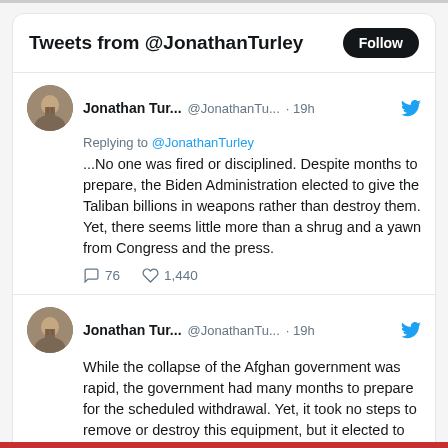Tweets from @JonathanTurley
Jonathan Tur... @JonathanTu... · 19h
Replying to @JonathanTurley
...No one was fired or disciplined. Despite months to prepare, the Biden Administration elected to give the Taliban billions in weapons rather than destroy them. Yet, there seems little more than a shrug and a yawn from Congress and the press.
76 · 1,440
Jonathan Tur... @JonathanTu... · 19h
While the collapse of the Afghan government was rapid, the government had many months to prepare for the scheduled withdrawal. Yet, it took no steps to remove or destroy this equipment, but it elected to leave this